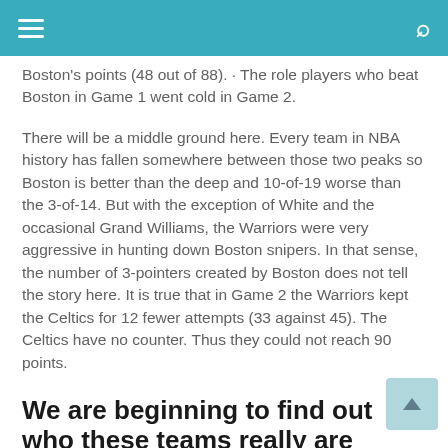≡  🔍
Boston's points (48 out of 88). · The role players who beat Boston in Game 1 went cold in Game 2.
There will be a middle ground here. Every team in NBA history has fallen somewhere between those two peaks so Boston is better than the deep and 10-of-19 worse than the 3-of-14. But with the exception of White and the occasional Grand Williams, the Warriors were very aggressive in hunting down Boston snipers. In that sense, the number of 3-pointers created by Boston does not tell the story here. It is true that in Game 2 the Warriors kept the Celtics for 12 fewer attempts (33 against 45). The Celtics have no counter. Thus they could not reach 90 points.
We are beginning to find out who these teams really are
Tonight is the perfect example of why the rotations get smaller and smaller as the playoff series progresses. The